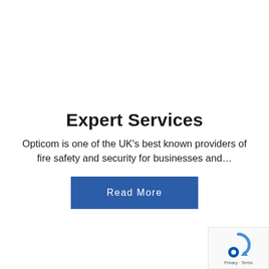Expert Services
Opticom is one of the UK's best known providers of fire safety and security for businesses and...
Read More
[Figure (logo): reCAPTCHA badge logo with blue arrow and blue circle icon, with text 'Privacy - Terms']